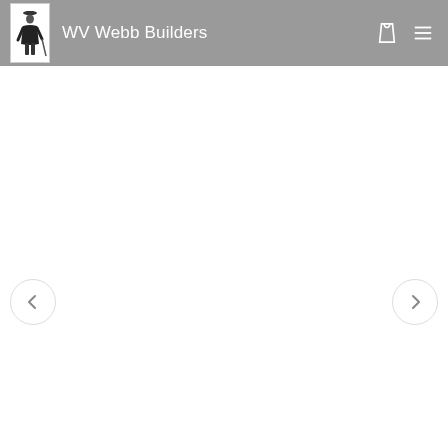WV Webb Builders
[Figure (screenshot): WV Webb Builders website screenshot showing a grey navigation header with logo image of a figure in a suit, site title 'WV Webb Builders', a shopping bag icon, and a hamburger menu icon. Below is a white content area with left and right carousel navigation arrows.]